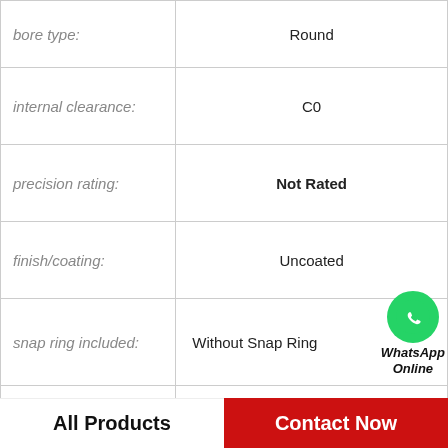| Property | Value |
| --- | --- |
| bore type: | Round |
| internal clearance: | C0 |
| precision rating: | Not Rated |
| finish/coating: | Uncoated |
| snap ring included: | Without Snap Ring |
| row type & fill slot: | Single Row Non-Fill |
| D | 26 mm |
| B | 8 mm |
| static load capacity: | 1970 N |
All Products
Contact Now